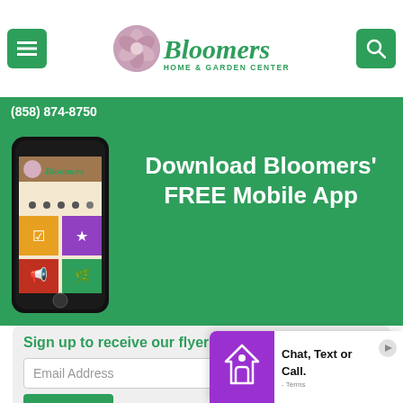[Figure (logo): Bloomers Home & Garden Center logo with flower icon and stylized text]
(858) 874-8750
[Figure (photo): Smartphone showing Bloomers mobile app interface]
Download Bloomers' FREE Mobile App
Sign up to receive our flyer each week!
Email Address
JOIN
[Figure (illustration): Purple chat widget with home/location icon and text: Chat, Text or Call. - Terms]